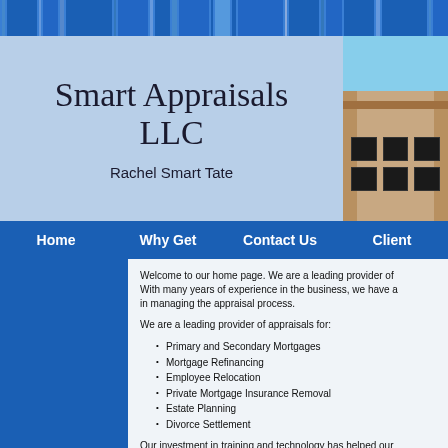[Figure (illustration): Blue vertical striped decorative banner at top of page]
Smart Appraisals LLC
Rachel Smart Tate
[Figure (photo): Photo of a building/house exterior on the right side of header]
Home | Why Get | Contact Us | Client
Welcome to our home page. We are a leading provider of... With many years of experience in the business, we have a... in managing the appraisal process.
We are a leading provider of appraisals for:
Primary and Secondary Mortgages
Mortgage Refinancing
Employee Relocation
Private Mortgage Insurance Removal
Estate Planning
Divorce Settlement
Our investment in training and technology has helped our... appraisal ordering, coupled with automatic report status u... to eliminate the run around and phone tag hassles associ... as well, we can keep our rates competitive with anybody i...
Short Turn-Around Times
Highest-Quality Appraisal Reports